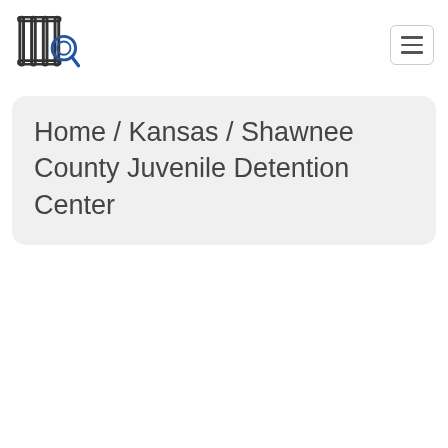[Figure (logo): Prison bars with magnifying glass icon — website logo]
Home / Kansas / Shawnee County Juvenile Detention Center